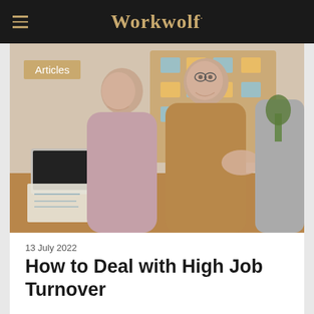Workwolf
[Figure (photo): Three people in an office setting: a woman in a mauve turtleneck, a woman in a camel blazer shaking hands, and a man in a grey suit jacket. A cork board with sticky notes is visible in the background, along with a laptop on a wooden desk.]
Articles
13 July 2022
How to Deal with High Job Turnover
Kendra Guidolin